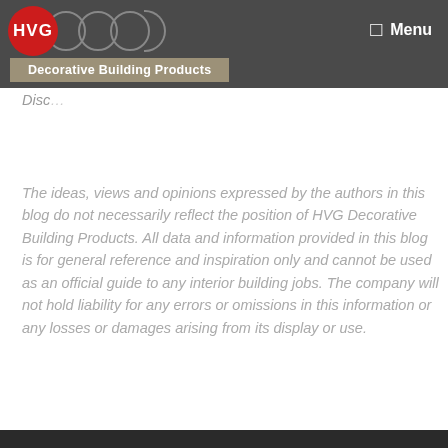HVG Decorative Building Products — Menu
Disclaimer
The ideas, views and opinions expressed by the authors in this blog do not necessarily reflect the position of HVG Decorative Building Products. All data and information provided in this blog is for general reference and inspiration only and cannot be used as an official guide to any interior building jobs. The company will not hold liability for any errors or omissions in this information or any losses or damages arising from its display or use.